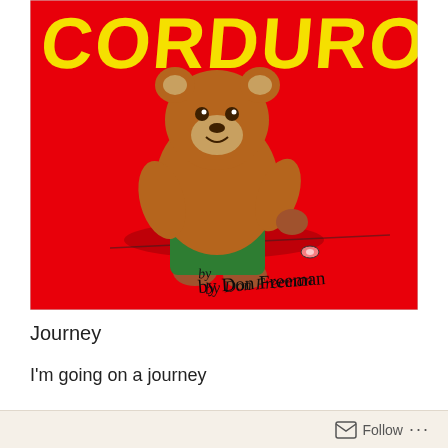[Figure (illustration): Book cover of 'Corduroy' by Don Freeman. Red background with yellow hand-lettered title 'CORDUROY' at top. A brown teddy bear wearing green overalls stands looking down at a missing button on a mattress. Black handwritten signature 'by Don Freeman' in lower right.]
Journey
I'm going on a journey
Follow ···